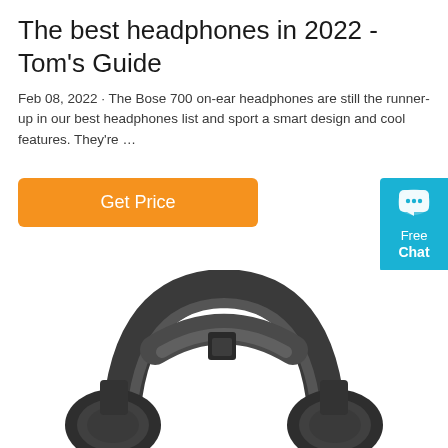The best headphones in 2022 - Tom's Guide
Feb 08, 2022 · The Bose 700 on-ear headphones are still the runner-up in our best headphones list and sport a smart design and cool features. They're …
[Figure (other): Orange 'Get Price' button and a cyan 'Free Chat' widget on the right edge]
[Figure (photo): Close-up photo of dark grey/black over-ear headphones showing the headband and ear cup from above against a white background]